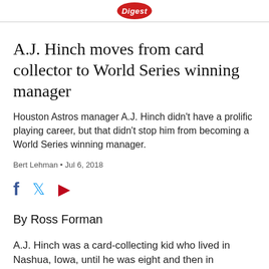Digest
A.J. Hinch moves from card collector to World Series winning manager
Houston Astros manager A.J. Hinch didn't have a prolific playing career, but that didn't stop him from becoming a World Series winning manager.
Bert Lehman • Jul 6, 2018
[Figure (other): Social share icons: Facebook, Twitter, Pinterest]
By Ross Forman
A.J. Hinch was a card-collecting kid who lived in Nashua, Iowa, until he was eight and then in